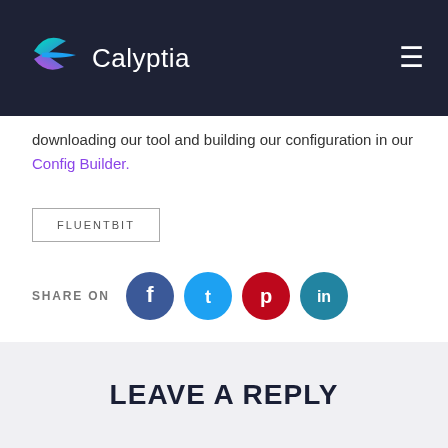Calyptia
downloading our tool and building our configuration in our Config Builder.
FLUENTBIT
SHARE ON
LEAVE A REPLY